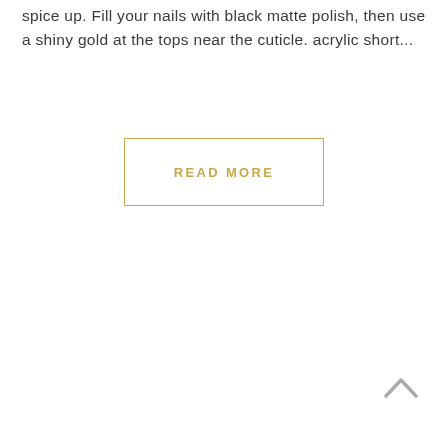spice up. Fill your nails with black matte polish, then use a shiny gold at the tops near the cuticle. acrylic short...
READ MORE
[Figure (other): Upward chevron/caret scroll-to-top icon in grey]